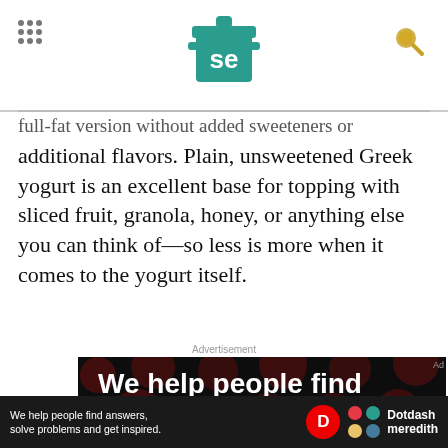Serious Eats (se logo) header with grid menu and search icon
full-fat version without added sweeteners or additional flavors. Plain, unsweetened Greek yogurt is an excellent base for topping with sliced fruit, granola, honey, or anything else you can think of—so less is more when it comes to the yogurt itself.
Advertisement
[Figure (other): Advertisement banner: dark background with dark red polka dots pattern. Large bold white text reads 'We help people find answers, solve problems and get inspired.' with a red period. Bottom bar with smaller version of the same text plus Dotdash Meredith logo.]